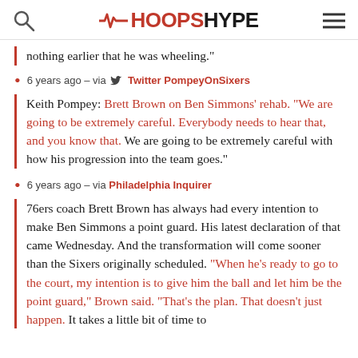HOOPSHYPE
nothing earlier that he was wheeling."
6 years ago – via Twitter PompeyOnSixers
Keith Pompey: Brett Brown on Ben Simmons' rehab. "We are going to be extremely careful. Everybody needs to hear that, and you know that. We are going to be extremely careful with how his progression into the team goes."
6 years ago – via Philadelphia Inquirer
76ers coach Brett Brown has always had every intention to make Ben Simmons a point guard. His latest declaration of that came Wednesday. And the transformation will come sooner than the Sixers originally scheduled. "When he's ready to go to the court, my intention is to give him the ball and let him be the point guard," Brown said. "That's the plan. That doesn't just happen. It takes a little bit of time to